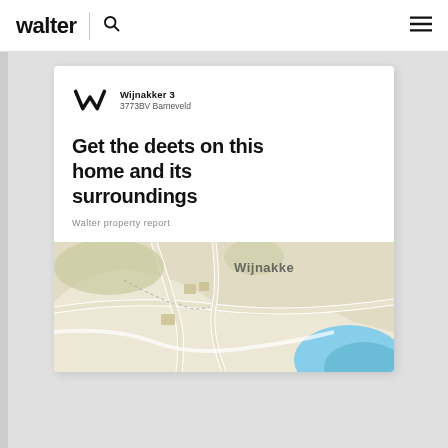walter | search | menu
Wijnakker 3
3773BV Barneveld
Get the deets on this home and its surroundings
Walter property report
[Figure (map): Street map showing the area around Wijnakker 3, Barneveld. Shows roads, green areas, and a blue water body (river or lake) in the lower right. The label 'Wijnakke' is visible in the upper portion of the map.]